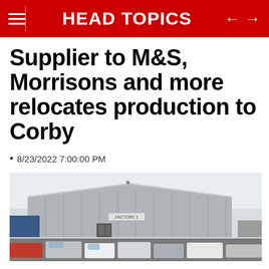HEAD TOPICS
Supplier to M&S, Morrisons and more relocates production to Corby
• 8/23/2022 7:00:00 PM
[Figure (photo): Exterior view of an industrial factory building labeled 'FACTORY 1' with a car park in the foreground, overcast sky in background]